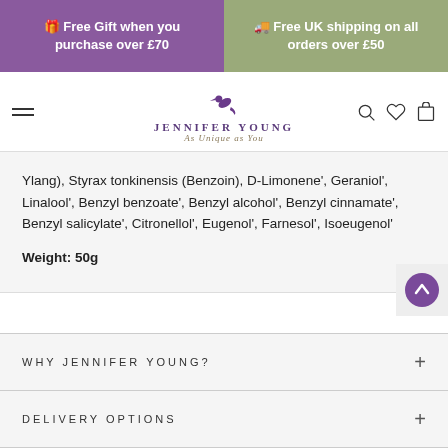🎁 Free Gift when you purchase over £70
🚚 Free UK shipping on all orders over £50
[Figure (logo): Jennifer Young brand logo with hummingbird icon and tagline 'As Unique as You']
Ylang), Styrax tonkinensis (Benzoin), D-Limonene', Geraniol', Linalool', Benzyl benzoate', Benzyl alcohol', Benzyl cinnamate', Benzyl salicylate', Citronellol', Eugenol', Farnesol', Isoeugenol'
Weight: 50g
WHY JENNIFER YOUNG?
DELIVERY OPTIONS